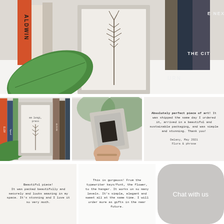[Figure (photo): Large hero photo showing a pressed botanical/lavender sprig mounted on a cream card, leaning against a stack of books (Baldwin, The Next Time, The City, URN) with a large green leaf in the foreground, on a white surface.]
[Figure (photo): Small framed pressed lavender artwork leaning against a stack of colorful books with a green leaf nearby.]
[Figure (photo): Hand holding a small rectangular clay/concrete tile with a dark rectangular inset, against a blurred green plant background.]
Absolutely perfect piece of art! It was shipped the same day I ordered it, arrived in a beautiful and sustainable packaging, and was simple and stunning. Thank you!

Delany, May 2021
Flora & phrase
Beautiful piece! It was packed beautifully and securely and looks amazing in my space. It's stunning and I love it so very much.
This is gorgeous! From the typewriter keys/font, the flower, to the hanger. It works on so many levels. It's simple, elegant and sweet all at the same time. I will order more as gifts in the near future.
[Figure (screenshot): Chat with us button (rounded rectangle, grey)]